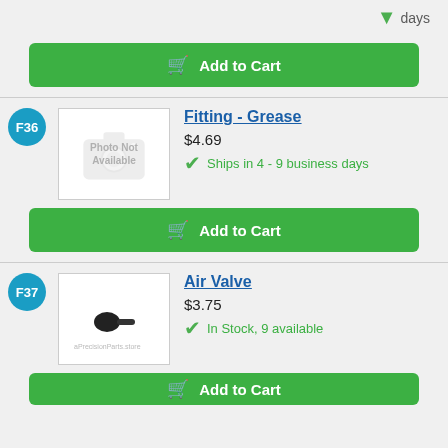days
Add to Cart
F36
Fitting - Grease
$4.69
Ships in 4 - 9 business days
Add to Cart
F37
Air Valve
$3.75
In Stock, 9 available
Add to Cart